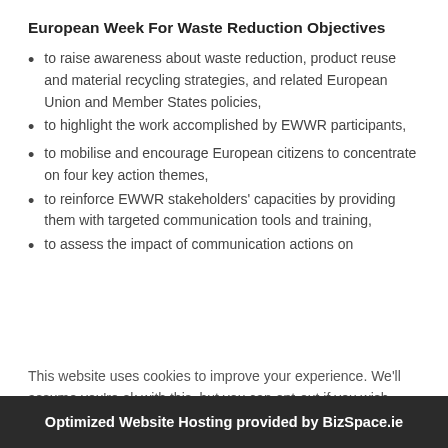European Week For Waste Reduction Objectives
to raise awareness about waste reduction, product reuse and material recycling strategies, and related European Union and Member States policies,
to highlight the work accomplished by EWWR participants,
to mobilise and encourage European citizens to concentrate on four key action themes,
to reinforce EWWR stakeholders' capacities by providing them with targeted communication tools and training,
to assess the impact of communication actions on
This website uses cookies to improve your experience. We'll assume you're ok with this, but you can opt-out if you wish.
Optimized Website Hosting provided by BizSpace.ie